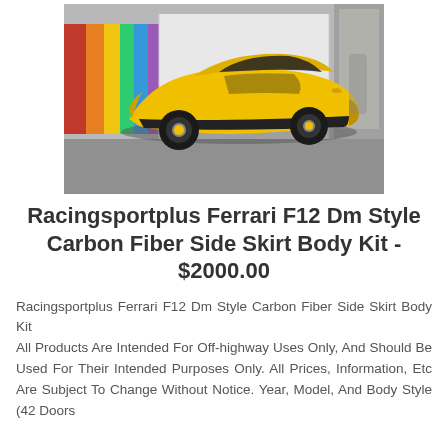[Figure (photo): Yellow Ferrari F12 sports car photographed from the side in an indoor workshop/garage setting with colorful wrapping materials visible in the background]
Racingsportplus Ferrari F12 Dm Style Carbon Fiber Side Skirt Body Kit - $2000.00
Racingsportplus Ferrari F12 Dm Style Carbon Fiber Side Skirt Body Kit
All Products Are Intended For Off-highway Uses Only, And Should Be Used For Their Intended Purposes Only. All Prices, Information, Etc Are Subject To Change Without Notice. Year, Model, And Body Style (42 Doors